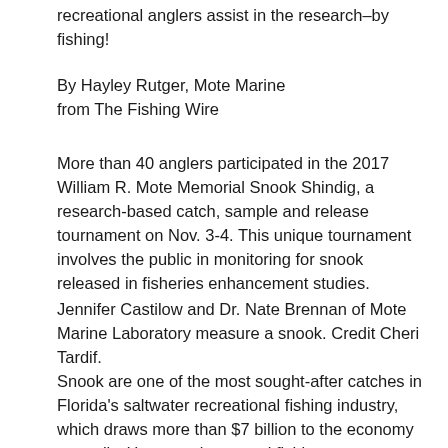recreational anglers assist in the research–by fishing!
By Hayley Rutger, Mote Marine
from The Fishing Wire
More than 40 anglers participated in the 2017 William R. Mote Memorial Snook Shindig, a research-based catch, sample and release tournament on Nov. 3-4. This unique tournament involves the public in monitoring for snook released in fisheries enhancement studies.
Jennifer Castilow and Dr. Nate Brennan of Mote Marine Laboratory measure a snook. Credit Cheri Tardif. Snook are one of the most sought-after catches in Florida's saltwater recreational fishing industry, which draws more than $7 billion to the economy annually. However, increased fishing pressure, habitat loss, and natural challenges such as cold weather and red tides have contributed to declines in snook populations. Thus, for more than 30 years, Mote